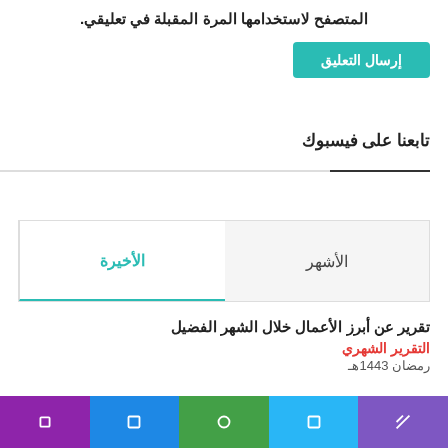المتصفح لاستخدامها المرة المقبلة في تعليقي.
إرسال التعليق
تابعنا على فيسبوك
| الأخيرة | الأشهر |
| --- | --- |
تقرير عن أبرز الأعمال خلال الشهر الفضيل
التقرير الشهري
رمضان 1443هـ